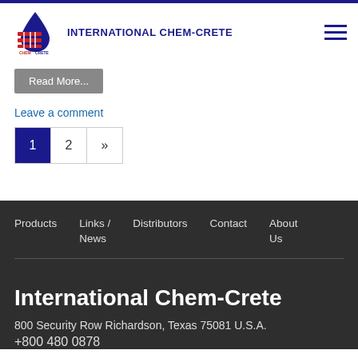INTERNATIONAL CHEM-CRETE
Read More...
Leave a comment
1  2  »
Products   Links / News   Distributors   Contact   About Us
International Chem-Crete
800 Security Row Richardson, Texas 75081 U.S.A.
+800 480 0878